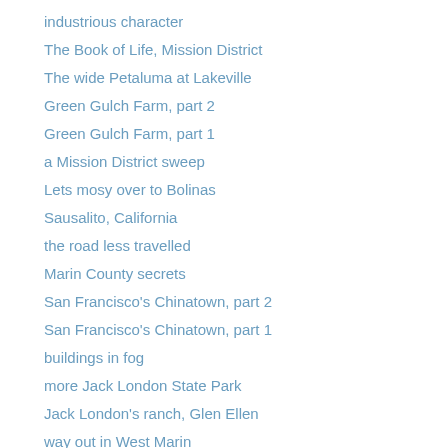industrious character
The Book of Life, Mission District
The wide Petaluma at Lakeville
Green Gulch Farm, part 2
Green Gulch Farm, part 1
a Mission District sweep
Lets mosy over to Bolinas
Sausalito, California
the road less travelled
Marin County secrets
San Francisco's Chinatown, part 2
San Francisco's Chinatown, part 1
buildings in fog
more Jack London State Park
Jack London's ranch, Glen Ellen
way out in West Marin
G.G. Bridge and the vicinity